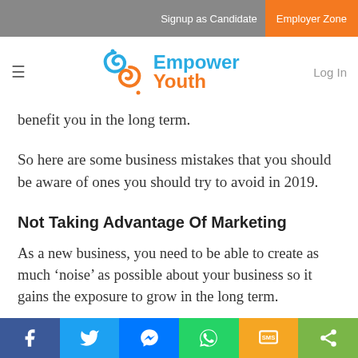Signup as Candidate | Employer Zone
[Figure (logo): Empower Youth logo with hamburger menu icon on left and Log In text on right]
benefit you in the long term.
So here are some business mistakes that you should be aware of ones you should try to avoid in 2019.
Not Taking Advantage Of Marketing
As a new business, you need to be able to create as much ‘noise’ as possible about your business so it gains the exposure to grow in the long term.
Businesses can have a habit of not doing enough marketing, which means over time you can sink into the
Social share bar: Facebook, Twitter, Messenger, WhatsApp, SMS, Share